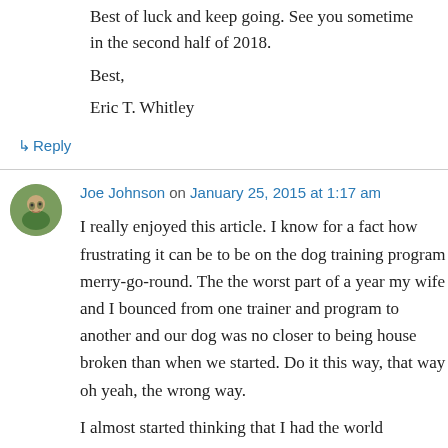Best of luck and keep going. See you sometime in the second half of 2018.
Best,
Eric T. Whitley
↳ Reply
Joe Johnson on January 25, 2015 at 1:17 am
I really enjoyed this article. I know for a fact how frustrating it can be to be on the dog training program merry-go-round. The the worst part of a year my wife and I bounced from one trainer and program to another and our dog was no closer to being house broken than when we started. Do it this way, that way oh yeah, the wrong way.
I almost started thinking that I had the world